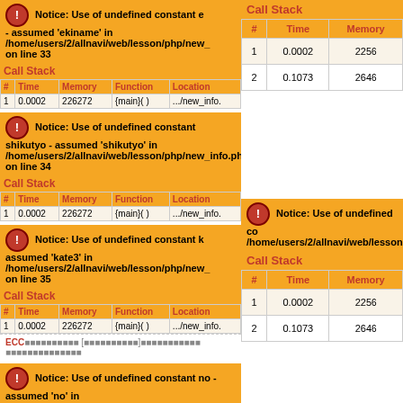Notice: Use of undefined constant ekiname - assumed 'ekiname' in /home/users/2/allnavi/web/lesson/php/new_info.php on line 33
Call Stack
| # | Time | Memory | Function | Location |
| --- | --- | --- | --- | --- |
| 1 | 0.0002 | 226272 | {main}( ) | .../new_info. |
Notice: Use of undefined constant shikutyo - assumed 'shikutyo' in /home/users/2/allnavi/web/lesson/php/new_info.php on line 34
Call Stack
| # | Time | Memory | Function | Location |
| --- | --- | --- | --- | --- |
| 1 | 0.0002 | 226272 | {main}( ) | .../new_info. |
Notice: Use of undefined constant kate3 - assumed 'kate3' in /home/users/2/allnavi/web/lesson/php/new_info.php on line 35
Call Stack
| # | Time | Memory | Function | Location |
| --- | --- | --- | --- | --- |
| 1 | 0.0002 | 226272 | {main}( ) | .../new_info. |
ECC
Notice: Use of undefined constant no - assumed 'no' in
Call Stack
| # | Time | Memory |
| --- | --- | --- |
| 1 | 0.0002 | 225... |
| 2 | 0.1073 | 264... |
Notice: Use of undefined constant... /home/users/2/allnavi/web/lesson/p
Call Stack
| # | Time | Memory |
| --- | --- | --- |
| 1 | 0.0002 | 225... |
| 2 | 0.1073 | 264... |